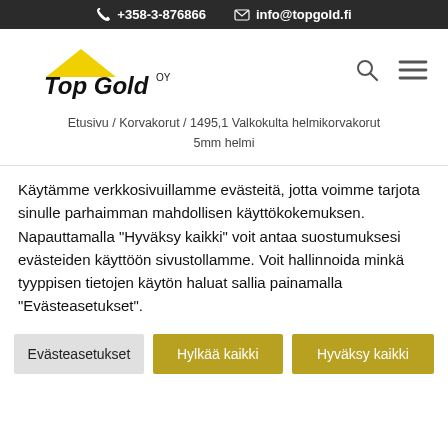+358-3-876866  info@topgold.fi
[Figure (logo): Top Gold Oy company logo with yellow roof/house shape above bold black text]
Etusivu / Korvakorut / 1495,1 Valkokulta helmikorvakorut 5mm helmi
Käytämme verkkosivuillamme evästeitä, jotta voimme tarjota sinulle parhaimman mahdollisen käyttökokemuksen. Napauttamalla "Hyväksy kaikki" voit antaa suostumuksesi evästeiden käyttöön sivustollamme. Voit hallinnoida minkä tyyppisen tietojen käytön haluat sallia painamalla "Evästeasetukset".
Evästeasetukset
Hylkää kaikki
Hyväksy kaikki